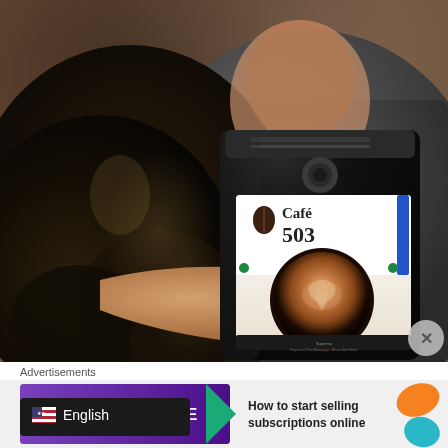[Figure (photo): A person with long dark curly hair with blonde highlights, wearing a gray Under Armour shirt, holding a black bag of Café 503 coffee against a brown/warm background.]
Advertisements
[Figure (screenshot): Advertisement banner showing: a purple Commerce background on the left with text 'MERCE' visible and a teal arrow, overlaid by a dark language selector showing a US flag and 'English'. On the right: 'How to start selling subscriptions online' with orange and teal decorative shapes.]